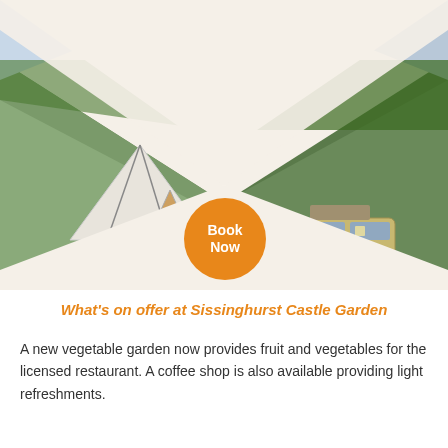[Figure (photo): A glamping/camping scene showing a large white bell tent, hay bales, camping equipment, and a vintage VW camper van on a green grassy field with hedgerows in the background. An orange 'Book Now' circular button is overlaid at the center of the image. The image is displayed with an X-shaped or bowtie-shaped cream/off-white overlay masking the top corners and bottom triangle areas.]
What's on offer at Sissinghurst Castle Garden
A new vegetable garden now provides fruit and vegetables for the licensed restaurant. A coffee shop is also available providing light refreshments.